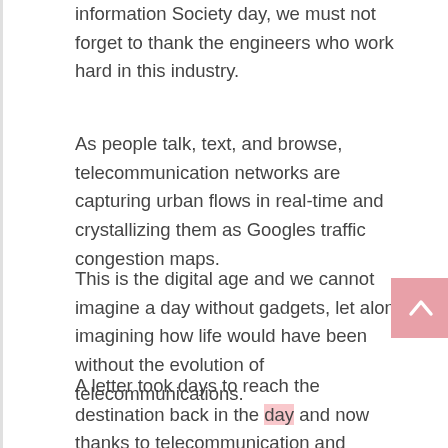information Society day, we must not forget to thank the engineers who work hard in this industry.
As people talk, text, and browse, telecommunication networks are capturing urban flows in real-time and crystallizing them as Googles traffic congestion maps.
This is the digital age and we cannot imagine a day without gadgets, let alone imagining how life would have been without the evolution of telecommunications.
A letter took days to reach the destination back in the day and now thanks to telecommunication and technology we are always connected with everyone across the globe.